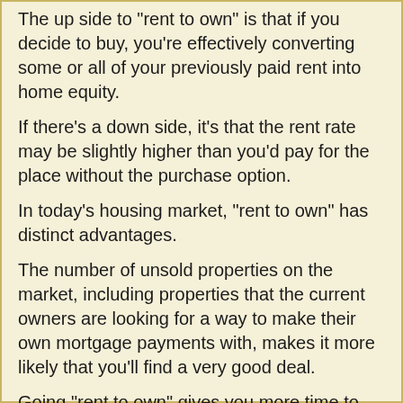The up side to "rent to own" is that if you decide to buy, you're effectively converting some or all of your previously paid rent into home equity.
If there's a down side, it's that the rent rate may be slightly higher than you'd pay for the place without the purchase option.
In today's housing market, "rent to own" has distinct advantages.
The number of unsold properties on the market, including properties that the current owners are looking for a way to make their own mortgage payments with, makes it more likely that you'll find a very good deal.
Going "rent to own" gives you more time to decide if this is the home you want.
It also lets you build effective equity in that home without being trapped in it by a disadvantageous mortgage from the very beginning.